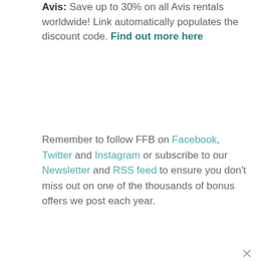Avis: Save up to 30% on all Avis rentals worldwide! Link automatically populates the discount code. Find out more here
Remember to follow FFB on Facebook, Twitter and Instagram or subscribe to our Newsletter and RSS feed to ensure you don't miss out on one of the thousands of bonus offers we post each year.